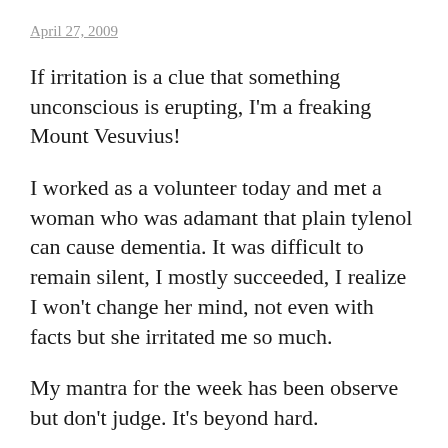April 27, 2009
If irritation is a clue that something unconscious is erupting, I'm a freaking Mount Vesuvius!
I worked as a volunteer today and met a woman who was adamant that plain tylenol can cause dementia. It was difficult to remain silent, I mostly succeeded, I realize I won't change her mind, not even with facts but she irritated me so much.
My mantra for the week has been observe but don't judge. It's beyond hard.
Reply